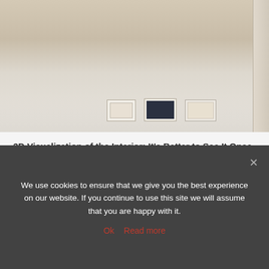[Figure (photo): Interior room photo showing a beige/tan room with books or items placed on a light-colored rug/floor, with a vertical light-colored element on the right side.]
3D Visualization of the Interior: It's Better to See It Once
Not so long ago, the only tools of designers were paper, pencils, and paints. This was the only way to show the interior...
We use cookies to ensure that we give you the best experience on our website. If you continue to use this site we will assume that you are happy with it.
Ok  Read more